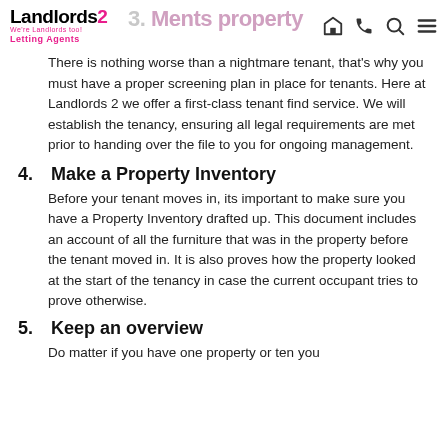Landlords 2 Letting Agents — navigation header
There is nothing worse than a nightmare tenant, that's why you must have a proper screening plan in place for tenants. Here at Landlords 2 we offer a first-class tenant find service. We will establish the tenancy, ensuring all legal requirements are met prior to handing over the file to you for ongoing management.
4. Make a Property Inventory
Before your tenant moves in, its important to make sure you have a Property Inventory drafted up. This document includes an account of all the furniture that was in the property before the tenant moved in. It is also proves how the property looked at the start of the tenancy in case the current occupant tries to prove otherwise.
5. Keep an overview
Do matter if you have one property or ten you